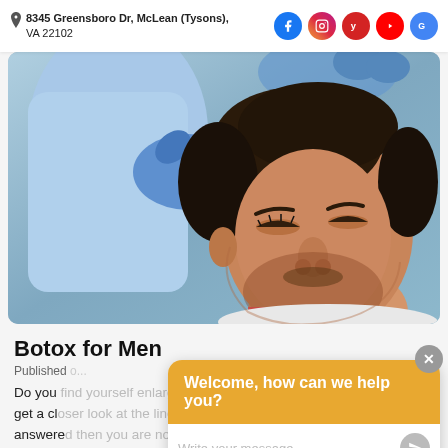8345 Greensboro Dr, McLean (Tysons), VA 22102
[Figure (photo): A man reclining with eyes closed receiving a facial injection from a medical professional wearing blue gloves, holding a syringe near the forehead area.]
Botox for Men
Published
Do you find yourself enlarging Instagram photos to get a closer look at the lines that have answered then you are not alone. It is not uncommon for men to notice crow's feet or
Welcome, how can we help you?
Write your message...